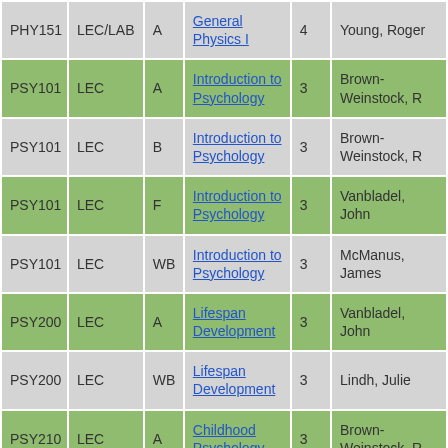| Course | Type | Section | Title | Credits | Instructor |
| --- | --- | --- | --- | --- | --- |
| PHY151 | LEC/LAB | A | General Physics I | 4 | Young, Roger |
| PSY101 | LEC | A | Introduction to Psychology | 3 | Brown-Weinstock, R |
| PSY101 | LEC | B | Introduction to Psychology | 3 | Brown-Weinstock, R |
| PSY101 | LEC | F | Introduction to Psychology | 3 | Vanbladel, John |
| PSY101 | LEC | WB | Introduction to Psychology | 3 | McManus, James |
| PSY200 | LEC | A | Lifespan Development | 3 | Vanbladel, John |
| PSY200 | LEC | WB | Lifespan Development | 3 | Lindh, Julie |
| PSY210 | LEC | A | Childhood Psychology | 3 | Brown-Weinstock, R |